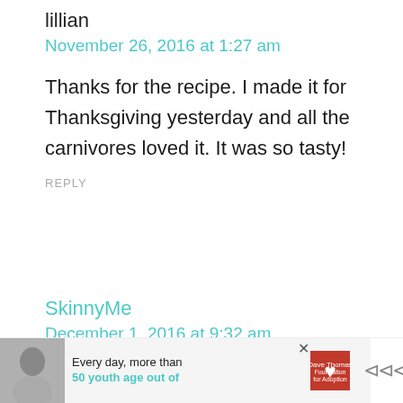lillian
November 26, 2016 at 1:27 am
Thanks for the recipe. I made it for Thanksgiving yesterday and all the carnivores loved it. It was so tasty!
REPLY
SkinnyMe
December 1, 2016 at 9:32 am
[Figure (other): Advertisement banner at bottom of page showing a woman photo, text 'Every day, more than 50 youth age out of', Dave Thomas Foundation for Adoption logo with heart, close button X, and mute icon]